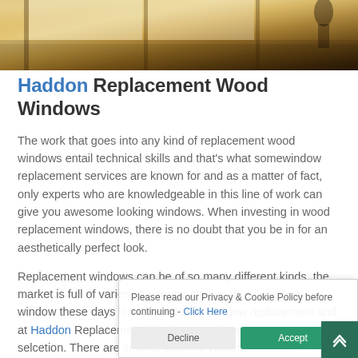[Figure (photo): Close-up interior photo of wooden window frames with warm brown tones, showing wood grain and window sill details]
Haddon Replacement Wood Windows
The work that goes into any kind of replacement wood windows entail technical skills and that's what somewindow replacement services are known for and as a matter of fact, only experts who are knowledgeable in this line of work can give you awesome looking windows. When investing in wood replacement windows, there is no doubt that you be in for an aesthetically perfect look.
Replacement windows can be of so many different kinds, the market is full of variety. A popular choice of replacement window these days is the wood sash window replacement and at Haddon Replacement Windows we do not disapoint with our selcetion. There are several different variants of wood windows, just like other replacement window solutions.
Please read our Privacy & Cookie Policy before continuing - Click Here
Decline
Accept